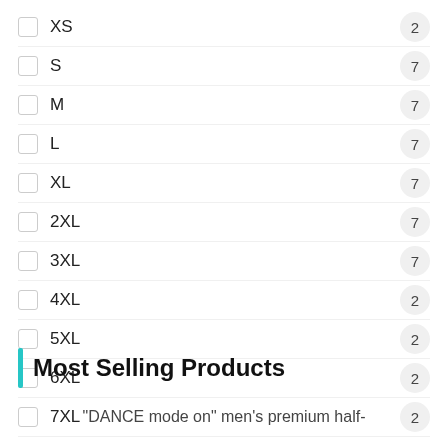XS  2
S  7
M  7
L  7
XL  7
2XL  7
3XL  7
4XL  2
5XL  2
6XL  2
7XL  2
Most Selling Products
"DANCE mode on" men's premium half-